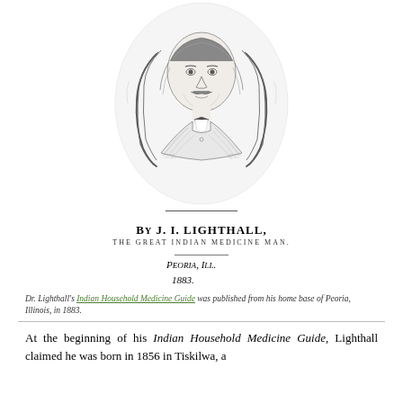[Figure (illustration): Black and white engraved portrait of J. I. Lighthall, a man with long wavy hair and a mustache, wearing a suit with a bow tie, shown from the chest up.]
BY J. I. LIGHTHALL,
THE GREAT INDIAN MEDICINE MAN.
PEORIA, ILL.
1883.
Dr. Lighthall's Indian Household Medicine Guide was published from his home base of Peoria, Illinois, in 1883.
At the beginning of his Indian Household Medicine Guide, Lighthall claimed he was born in 1856 in Tiskilwa, a